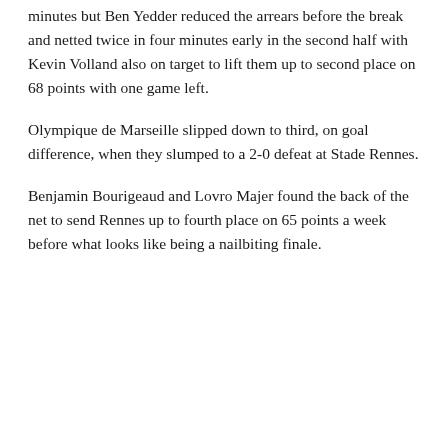minutes but Ben Yedder reduced the arrears before the break and netted twice in four minutes early in the second half with Kevin Volland also on target to lift them up to second place on 68 points with one game left.
Olympique de Marseille slipped down to third, on goal difference, when they slumped to a 2-0 defeat at Stade Rennes.
Benjamin Bourigeaud and Lovro Majer found the back of the net to send Rennes up to fourth place on 65 points a week before what looks like being a nailbiting finale.